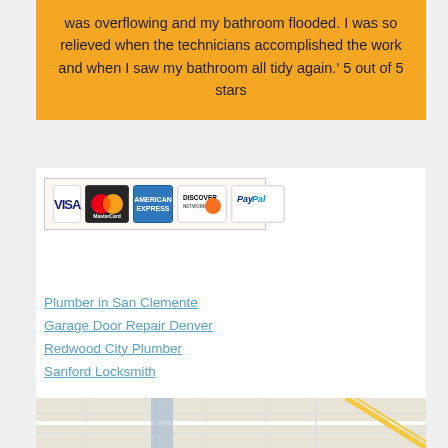was overflowing and my bathroom flooded. I was so relieved when the technicians accomplished the work and when I saw my bathroom all tidy again.' 5 out of 5 stars
[Figure (other): Payment method logos: VISA, MasterCard, American Express, Discover, PayPal]
Plumber in San Clemente
Garage Door Repair Denver
Redwood City Plumber
Sanford Locksmith
[Figure (map): Street map snippet shown at bottom of page]